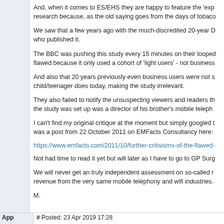And, when it comes to ES/EHS they are happy to feature the 'exp research because, as the old saying goes from the days of tobaco
We saw that a few years ago with the much-discredited 20-year D who published it.
The BBC was pushing this study every 15 minutes on their looped flawed because it only used a cohort of 'light users' - not business
And also that 20 years previously even business users were not s child/teenager does today, making the study irrelevant.
They also failed to notify the unsuspecting viewers and readers th the study was set up was a director of his brother's mobile teleph
I can't find my original critique at the moment but simply googled was a post from 22 October 2011 on EMFacts Consultancy here:
https://www.emfacts.com/2011/10/further-critisisms-of-the-flawed-
Not had time to read it yet but will later as I have to go to GP Surg
We will never get an truly independent assessment on so-called r revenue from the very same mobile telephony and wifi industries.
M.
App    # Posted: 23 Apr 2019 17:28